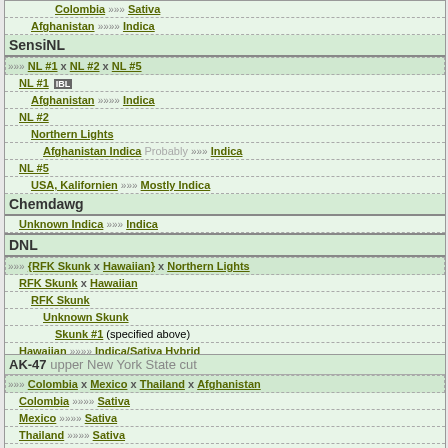Colombia »»» Sativa
Afghanistan »»» Indica
SensiNL
»»» NL #1 x NL #2 x NL #5
NL #1 IBL
Afghanistan »»» Indica
NL #2
Northern Lights
Afghanistan Indica Probably »»» Indica
NL #5
USA, Kalifornien »»» Mostly Indica
Chemdawg
Unknown Indica »»» Indica
DNL
»»» {RFK Skunk x Hawaiian} x Northern Lights
RFK Skunk x Hawaiian
RFK Skunk
Unknown Skunk
Skunk #1 (specified above)
Hawaiian »»» Indica/Sativa Hybrid
Northern Lights (specified above)
AK-47 upper New York State cut
»»» Colombia x Mexico x Thailand x Afghanistan
Colombia »»» Sativa
Mexico »»» Sativa
Thailand »»» Sativa
Afghanistan »»» Indica